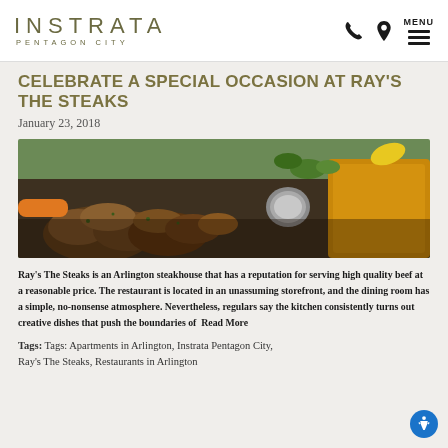INSTRATA PENTAGON CITY — with phone, location, and MENU icons
CELEBRATE A SPECIAL OCCASION AT RAY'S THE STEAKS
January 23, 2018
[Figure (photo): Close-up photograph of sautéed mushrooms and other food items plated on a dish at Ray's The Steaks restaurant]
Ray's The Steaks is an Arlington steakhouse that has a reputation for serving high quality beef at a reasonable price. The restaurant is located in an unassuming storefront, and the dining room has a simple, no-nonsense atmosphere. Nevertheless, regulars say the kitchen consistently turns out creative dishes that push the boundaries of  Read More
Tags: Tags: Apartments in Arlington, Instrata Pentagon City, Ray's The Steaks, Restaurants in Arlington